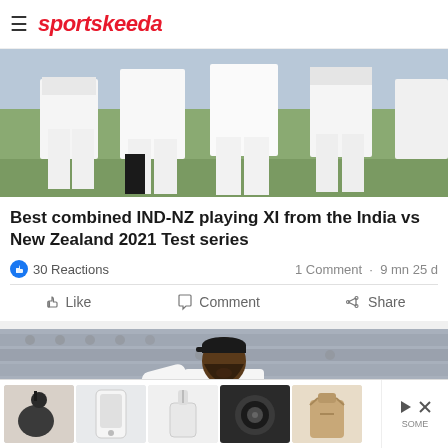sportskeeda
[Figure (photo): Cricket players in white test match uniforms standing on a field, seen from the torso down]
Best combined IND-NZ playing XI from the India vs New Zealand 2021 Test series
30 Reactions   1 Comment · 9 mn 25 d
Like   Comment   Share
[Figure (photo): A cricketer with a beard and cap, mouth open as if shouting or celebrating, with stadium seating in the background]
[Figure (photo): Advertisement bar with product thumbnails - earbuds case, phone case, lanyard pouch, speaker, and another item]